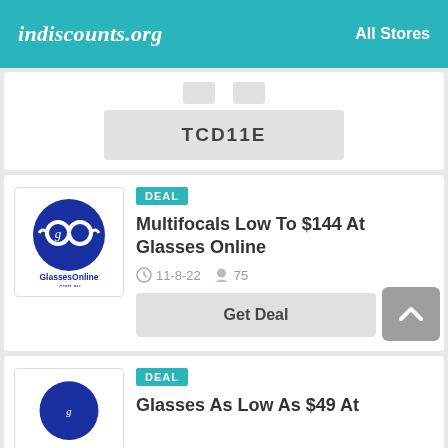indiscounts.org   All Stores
TCD11E
DEAL
Multifocals Low To $144 At Glasses Online
11-8-22   75
Get Deal
DEAL
Glasses As Low As $49 At